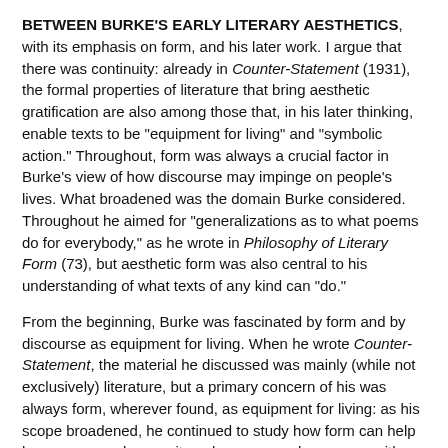BETWEEN BURKE'S EARLY LITERARY AESTHETICS, with its emphasis on form, and his later work. I argue that there was continuity: already in Counter-Statement (1931), the formal properties of literature that bring aesthetic gratification are also among those that, in his later thinking, enable texts to be "equipment for living" and "symbolic action." Throughout, form was always a crucial factor in Burke's view of how discourse may impinge on people's lives. What broadened was the domain Burke considered. Throughout he aimed for "generalizations as to what poems do for everybody," as he wrote in Philosophy of Literary Form (73), but aesthetic form was also central to his understanding of what texts of any kind can "do."
From the beginning, Burke was fascinated by form and by discourse as equipment for living. When he wrote Counter-Statement, the material he discussed was mainly (while not exclusively) literature, but a primary concern of his was always form, wherever found, as equipment for living: as his scope broadened, he continued to study how form can help humans—speakers, writers, hearers, readers—cope with their lives.
I will discuss how Burke saw form as a psychodynamic agent, as discussed primarily in Counter-Statement. To offset what is